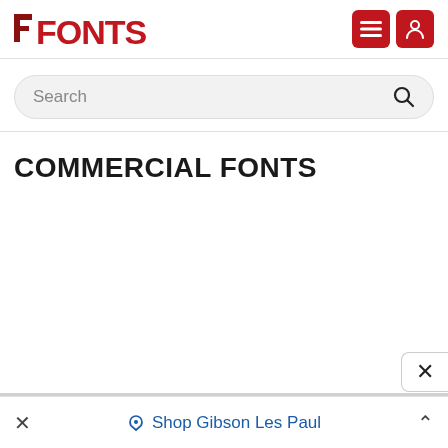FONTS
Search
COMMERCIAL FONTS
× Shop Gibson Les Paul ^